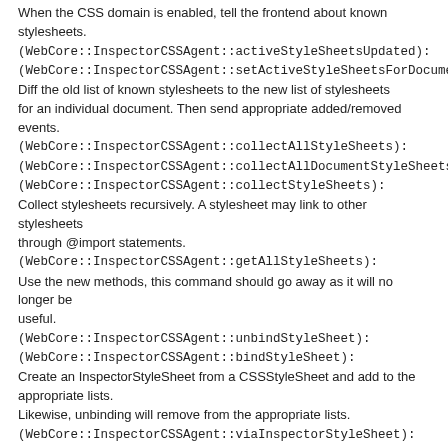When the CSS domain is enabled, tell the frontend about known stylesheets. (WebCore::InspectorCSSAgent::activeStyleSheetsUpdated): (WebCore::InspectorCSSAgent::setActiveStyleSheetsForDocument): Diff the old list of known stylesheets to the new list of stylesheets for an individual document. Then send appropriate added/removed events. (WebCore::InspectorCSSAgent::collectAllStyleSheets): (WebCore::InspectorCSSAgent::collectAllDocumentStyleSheets): (WebCore::InspectorCSSAgent::collectStyleSheets): Collect stylesheets recursively. A stylesheet may link to other stylesheets through @import statements. (WebCore::InspectorCSSAgent::getAllStyleSheets): Use the new methods, this command should go away as it will no longer be useful. (WebCore::InspectorCSSAgent::unbindStyleSheet): (WebCore::InspectorCSSAgent::bindStyleSheet): Create an InspectorStyleSheet from a CSSStyleSheet and add to the appropriate lists. Likewise, unbinding will remove from the appropriate lists. (WebCore::InspectorCSSAgent::viaInspectorStyleSheet): (WebCore::InspectorCSSAgent::detectOrigin): When creating the inspector stylesheet, which is a <style> element, it will push a StyleSheetAdded event. In the process of binding this new stylesheet use the m_creatingViaInspectorStyleSheet to add it to out list of Inspector Stylesheets. Source/WebInspectorUI:
UserInterface/Models/CSSStyleSheet.js: